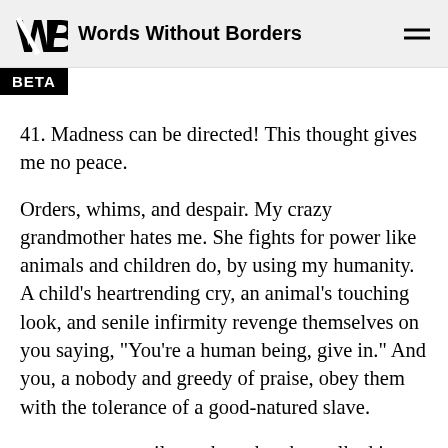Words Without Borders
41. Madness can be directed! This thought gives me no peace.
Orders, whims, and despair. My crazy grandmother hates me. She fights for power like animals and children do, by using my humanity. A child’s heartrending cry, an animal’s touching look, and senile infirmity revenge themselves on you saying, “You’re a human being, give in.” And you, a nobody and greedy of praise, obey them with the tolerance of a good-natured slave.
t went until one day when he walked into my room. He made a few steps toward me without